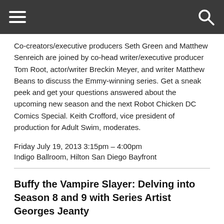[hamburger menu] [search icon]
Co-creators/executive producers Seth Green and Matthew Senreich are joined by co-head writer/executive producer Tom Root, actor/writer Breckin Meyer, and writer Matthew Beans to discuss the Emmy-winning series. Get a sneak peek and get your questions answered about the upcoming new season and the next Robot Chicken DC Comics Special. Keith Crofford, vice president of production for Adult Swim, moderates.
Friday July 19, 2013 3:15pm – 4:00pm
Indigo Ballroom, Hilton San Diego Bayfront
Buffy the Vampire Slayer: Delving into Season 8 and 9 with Series Artist Georges Jeanty
Comic-Con special guest Georges Jeanty takes you on an intimate journey through the life of the Scoobys as they continued on